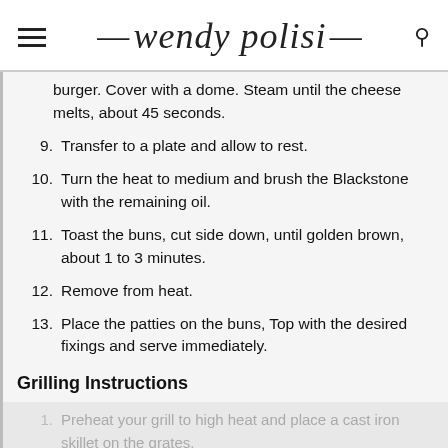wendy polisi
burger. Cover with a dome. Steam until the cheese melts, about 45 seconds.
9. Transfer to a plate and allow to rest.
10. Turn the heat to medium and brush the Blackstone with the remaining oil.
11. Toast the buns, cut side down, until golden brown, about 1 to 3 minutes.
12. Remove from heat.
13. Place the patties on the buns, Top with the desired fixings and serve immediately.
Grilling Instructions
1. Preheat your grill to high heat and place a cast iron skillet on the grates.